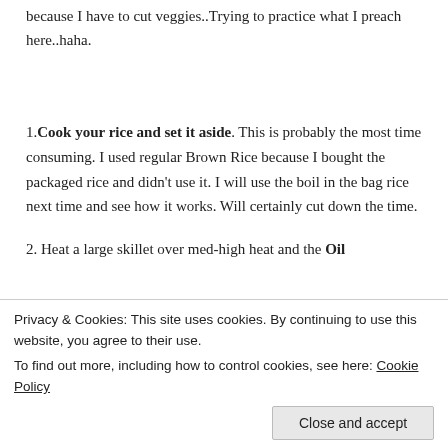because I have to cut veggies..Trying to practice what I preach here..haha.
1. Cook your rice and set it aside. This is probably the most time consuming.  I used regular Brown Rice because I bought the packaged rice and didn’t use it.  I will use the boil in the bag rice next time and see how it works.  Will certainly cut down the time.
2.  Heat a large skillet over med-high heat and the Oil
Privacy & Cookies: This site uses cookies. By continuing to use this website, you agree to their use.
To find out more, including how to control cookies, see here: Cookie Policy
Close and accept